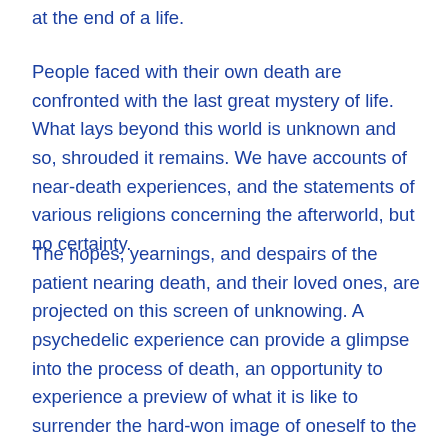at the end of a life.
People faced with their own death are confronted with the last great mystery of life. What lays beyond this world is unknown and so, shrouded it remains. We have accounts of near-death experiences, and the statements of various religions concerning the afterworld, but no certainty.
The hopes, yearnings, and despairs of the patient nearing death, and their loved ones, are projected on this screen of unknowing. A psychedelic experience can provide a glimpse into the process of death, an opportunity to experience a preview of what it is like to surrender the hard-won image of oneself to the unknown. This ego death, or transcendence, is a